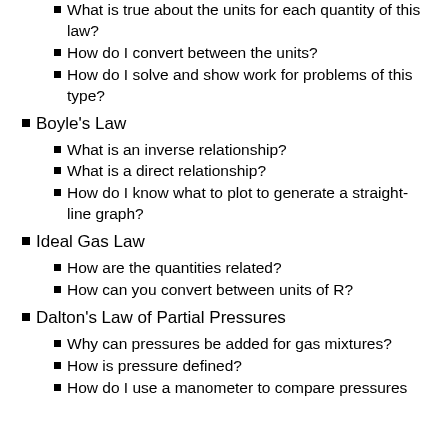What is true about the units for each quantity of this law?
How do I convert between the units?
How do I solve and show work for problems of this type?
Boyle's Law
What is an inverse relationship?
What is a direct relationship?
How do I know what to plot to generate a straight-line graph?
Ideal Gas Law
How are the quantities related?
How can you convert between units of R?
Dalton's Law of Partial Pressures
Why can pressures be added for gas mixtures?
How is pressure defined?
How do I use a manometer to compare pressures